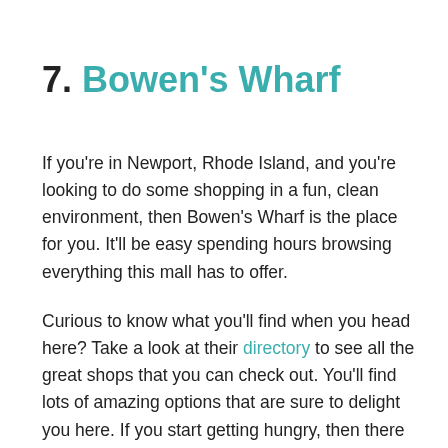7. Bowen's Wharf
If you're in Newport, Rhode Island, and you're looking to do some shopping in a fun, clean environment, then Bowen's Wharf is the place for you. It'll be easy spending hours browsing everything this mall has to offer.
Curious to know what you'll find when you head here? Take a look at their directory to see all the great shops that you can check out. You'll find lots of amazing options that are sure to delight you here. If you start getting hungry, then there are plenty of restaurants you'll